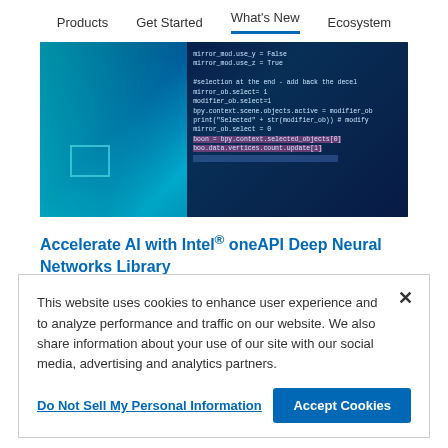Products   Get Started   What's New   Ecosystem
[Figure (screenshot): Screenshot of a code editor showing Python code on a dark blue background with teal/cyan glowing light effects on the left side. Several lines of code are visible with some highlighted in pink.]
Accelerate AI with Intel® oneAPI Deep Neural Networks Library
This website uses cookies to enhance user experience and to analyze performance and traffic on our website. We also share information about your use of our site with our social media, advertising and analytics partners.
Do Not Sell My Personal Information
Accept Cookies